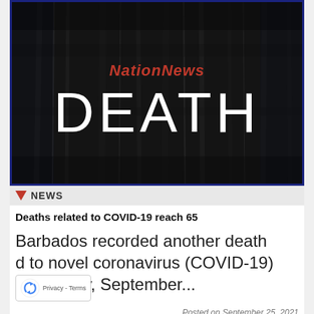[Figure (illustration): Dark textured background image with 'NationNews' in red text and 'DEATH' in large white bold letters centered on the image.]
NEWS
Deaths related to COVID-19 reach 65
Barbados recorded another death d to novel coronavirus (COVID-19) , Saturday, September...
Posted on September 25, 2021